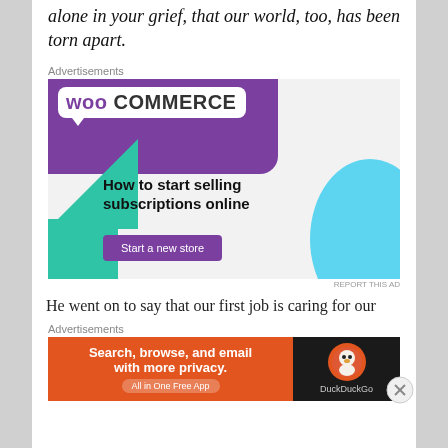alone in your grief, that our world, too, has been torn apart.
Advertisements
[Figure (screenshot): WooCommerce advertisement: purple banner with WooCommerce logo, green triangle shape, blue circle shape, tagline 'How to start selling subscriptions online', and a 'Start a new store' button]
REPORT THIS AD
He went on to say that our first job is caring for our
Advertisements
[Figure (screenshot): DuckDuckGo advertisement: orange section with text 'Search, browse, and email with more privacy. All in One Free App', black section with DuckDuckGo logo]